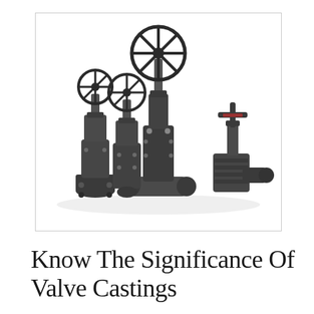[Figure (photo): A group of four dark/black industrial valve castings of various sizes arranged together against a white background. The valves include gate valves and globe valves with handwheels, flanged ends, and threaded connections. The largest valve in the center has a large black spoked handwheel at the top.]
Know The Significance Of Valve Castings